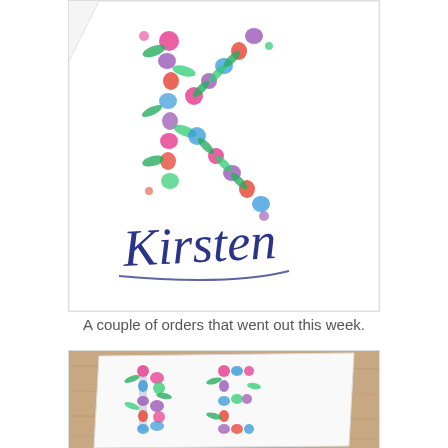[Figure (illustration): Close-up of a watercolor art piece showing a floral letter K made of pink, purple, and green flowers with the name 'Kirsten' written below in dark navy blue calligraphy script, on white paper.]
A couple of orders that went out this week.
[Figure (photo): Photo of a white card on a wooden surface featuring two floral monogram letters (B and E or similar) made of colorful painted flowers in pink, blue, and green watercolor.]